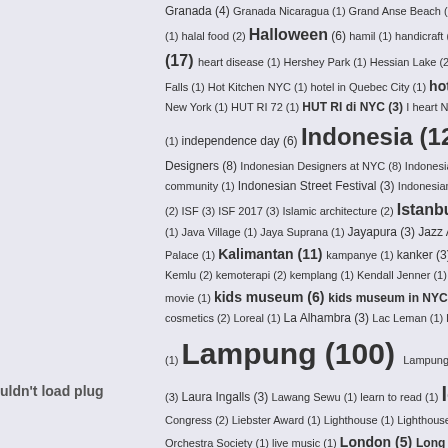Tag cloud / index page showing blog tags with counts including: Granada (4) Granada Nicaragua (1) Grand Anse Beach (2) Grand Canyon (2) halal food (2) Halloween (6) hamil (1) handicraft (1) Hard Rock Cafe (1) (17) heart disease (1) Hershey Park (1) Hessian Lake (2) hijab (1) holiday (8) Falls (1) Hot Kitchen NYC (1) hotel in Quebec City (1) hotel review (6) Huda B New York (1) HUT RI 72 (1) HUT RI di NYC (3) I heart NY (2) ibu (2) ice skating (1) independence day (6) Indonesia (127) Indonesia @UN (5) Designers (8) Indonesian Designers at NYC (8) Indonesian Fashion (7) community (1) Indonesian Street Festival (3) Indonesian Street Festival (2) ISF (3) ISF 2017 (3) Islamic architecture (2) Istanbul (20) Italy (7) ITC (1) Java Village (1) Jaya Suprana (1) Jayapura (3) Jazz Age Lawn Party (3) Palace (1) Kalimantan (11) kampanye (1) kanker (3) kanker payudara (7) Kemlu (2) kemoterapi (2) kemplang (1) Kendall Jenner (1) kerupuk (1) Key Largo movie (1) kids museum (6) kids museum in NYC (4) Kiluan (5) kimlo (2) cosmetics (2) Loreal (1) La Alhambra (3) Lac Leman (1) lady apsara (1) Lady Ga (1) Lampung (100) Lampung Barat (3) Lampung Krakatau Festival (3) Laura Ingalls (3) Lawang Sewu (1) learn to read (1) lebaran (31) leba Congress (2) Liebster Award (1) Lighthouse (1) Lighthouse Park (1) Lime Crime Orchestra Society (1) live music (1) London (5) Long Island City (5) Look Go Lutfi Labibi (1) Luzern (5) Macy's (4) Macy's fireworks (1) Madame Tussauds making strides against breast cancer (27) making strides NYC (1) mammogram (4) mammograms (1) Manado (10) Managua (5) Manet (1) melahirkan (1) menyelam di Indonesia (4) merah putih (1) Miami (4) MIB